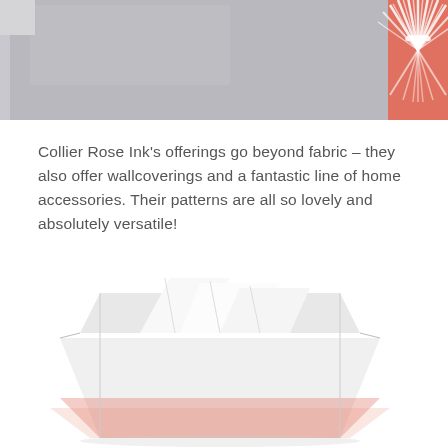[Figure (photo): Top portion of a photo showing a gray surface/background with a decorative coral/pink sunburst or fan pattern logo in the upper right corner]
Collier Rose Ink’s offerings go beyond fabric – they also offer wallcoverings and a fantastic line of home accessories. Their patterns are all so lovely and absolutely versatile!
[Figure (photo): A white tissue box with decorative coral/pink patterned bottom, photographed from above at an angle showing tissues pulled out, on a white background]